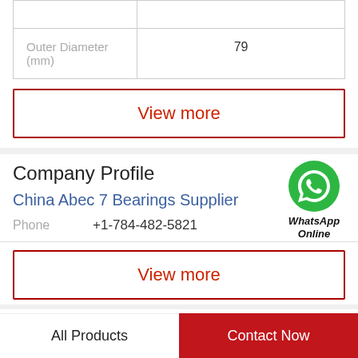|  |  |
| --- | --- |
| Outer Diameter (mm) | 79 |
View more
Company Profile
China Abec 7 Bearings Supplier
[Figure (logo): WhatsApp Online green phone icon with text WhatsApp Online]
Phone  +1-784-482-5821
View more
Related News
All Products   Contact Now